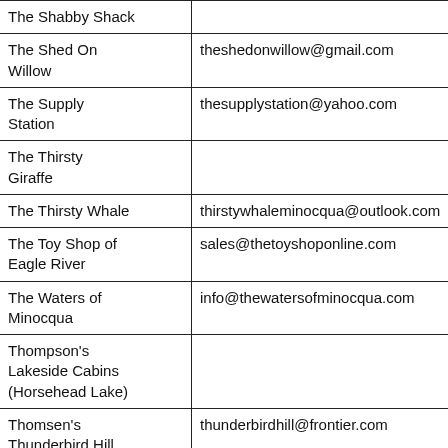| Business Name | Email |
| --- | --- |
| The Shabby Shack |  |
| The Shed On Willow | theshedonwillow@gmail.com |
| The Supply Station | thesupplystation@yahoo.com |
| The Thirsty Giraffe |  |
| The Thirsty Whale | thirstywhaleminocqua@outlook.com |
| The Toy Shop of Eagle River | sales@thetoyshoponline.com |
| The Waters of Minocqua | info@thewatersofminocqua.com |
| Thompson's Lakeside Cabins (Horsehead Lake) |  |
| Thomsen's Thunderbird Hill | thunderbirdhill@frontier.com |
| Three S... |  |